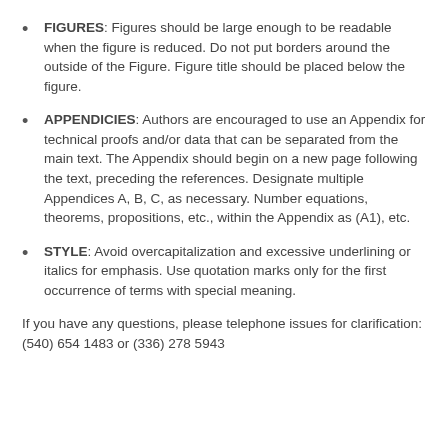FIGURES: Figures should be large enough to be readable when the figure is reduced. Do not put borders around the outside of the Figure. Figure title should be placed below the figure.
APPENDICIES: Authors are encouraged to use an Appendix for technical proofs and/or data that can be separated from the main text. The Appendix should begin on a new page following the text, preceding the references. Designate multiple Appendices A, B, C, as necessary. Number equations, theorems, propositions, etc., within the Appendix as (A1), etc.
STYLE: Avoid overcapitalization and excessive underlining or italics for emphasis. Use quotation marks only for the first occurrence of terms with special meaning.
If you have any questions, please telephone issues for clarification: (540) 654 1483 or (336) 278 5943